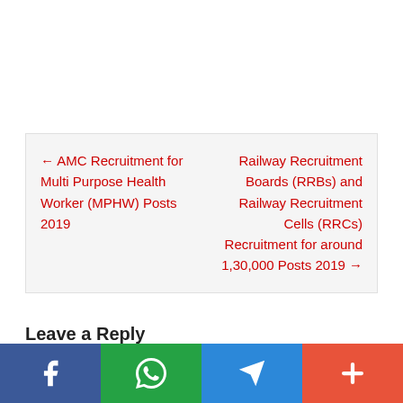← AMC Recruitment for Multi Purpose Health Worker (MPHW) Posts 2019
Railway Recruitment Boards (RRBs) and Railway Recruitment Cells (RRCs) Recruitment for around 1,30,000 Posts 2019 →
Leave a Reply
Your email address will not be published. Required fields are